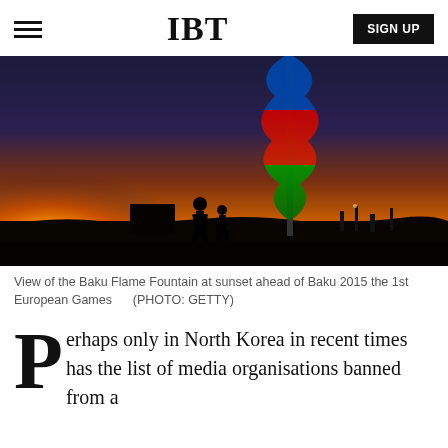IBT
[Figure (photo): Sunset photo showing silhouettes of two people and an illuminated flag pole showing the Azerbaijani flag (blue, red, green stripes) against an orange and dark blue sky, with the Baku Flame Fountain visible. Taken ahead of Baku 2015 the 1st European Games.]
View of the Baku Flame Fountain at sunset ahead of Baku 2015 the 1st European Games      (PHOTO: GETTY)
Perhaps only in North Korea in recent times has the list of media organisations banned from a